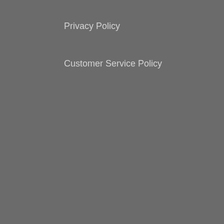Privacy Policy
Customer Service Policy